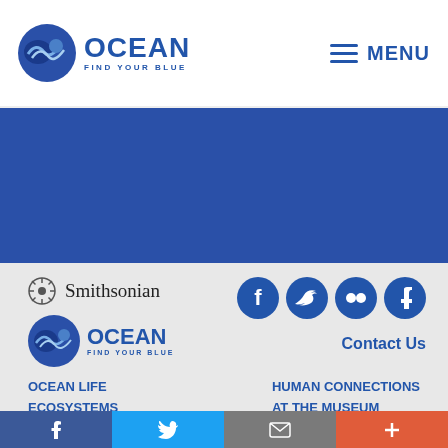[Figure (logo): Ocean Find Your Blue logo with wave icon and MENU hamburger icon in header]
[Figure (illustration): Solid blue banner area]
[Figure (logo): Smithsonian logo (sunburst icon + Smithsonian text) and Ocean Find Your Blue logo in footer area]
[Figure (illustration): Four social media circle icons: Facebook, Twitter, Flickr, Tumblr]
Contact Us
OCEAN LIFE
ECOSYSTEMS
PLANET OCEAN
HUMAN CONNECTIONS
AT THE MUSEUM
EDUCATORS
[Figure (illustration): Bottom bar with four buttons: Facebook (blue), Twitter (light blue), Mail (gray), Plus (orange-red)]